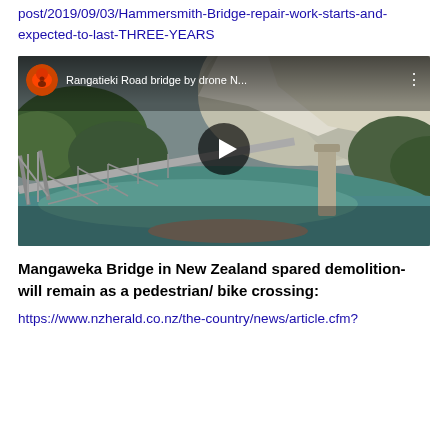post/2019/09/03/Hammersmith-Bridge-repair-work-starts-and-expected-to-last-THREE-YEARS
[Figure (screenshot): YouTube video thumbnail showing drone footage of Rangatieki Road bridge in New Zealand with title 'Rangatieki Road bridge by drone N...' and a play button overlay]
Mangaweka Bridge in New Zealand spared demolition- will remain as a pedestrian/ bike crossing:
https://www.nzherald.co.nz/the-country/news/article.cfm?